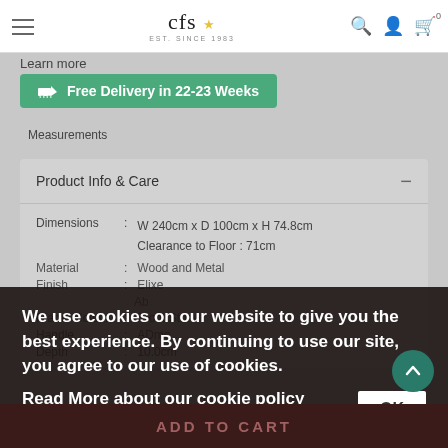CFS Est. Since 1983 — navigation header with hamburger menu, search, account, and cart icons
Learn more
Free Delivery in 22-23 Weeks
Measurements
Product Info & Care
| Property |  | Value |
| --- | --- | --- |
| Dimensions | : | W 240cm x D 100cm x H 74.8cm
Clearance to Floor : 71cm |
| Material | : | Wood and Metal |
| Finish | : | Elixe |
|  |  | Ab |
| Frame Colour | : | Front Stone |
| Handle | : | ADme |
| Depth | : | 10.0cm |
We use cookies on our website to give you the best experience. By continuing to use our site, you agree to our use of cookies.
Read More about our cookie policy here.
OK
ADD TO CART